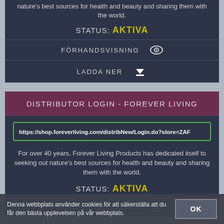nature's best sources for health and beauty and sharing them with the world.
STATUS: AKTIVA
FÖRHANDSVISNING
LADDA NER
DISTRIBUTOR LOGIN - FOREVER LIVING
https://shop.foreverliving.com/distribNew/Login.do?store=ZAF
For over 40 years, Forever Living Products has dedicated itself to seeking out nature's best sources for health and beauty and sharing them with the world.
STATUS: AKTIVA
FÖRHANDSVISNING
Denna webbplats använder cookies för att säkerställa att du får den bästa upplevelsen på vår webbplats.